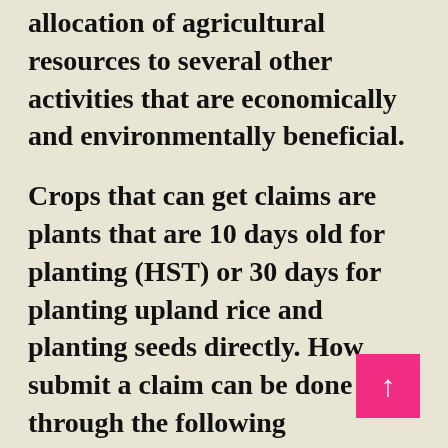Agricultural diversification is the allocation of agricultural resources to several other activities that are economically and environmentally beneficial.
Crops that can get claims are plants that are 10 days old for planting (HST) or 30 days for planting upland rice and planting seeds directly. How submit a claim can be done through the following procedures:
Farmers submit claims to PT Jasindo through agricultural